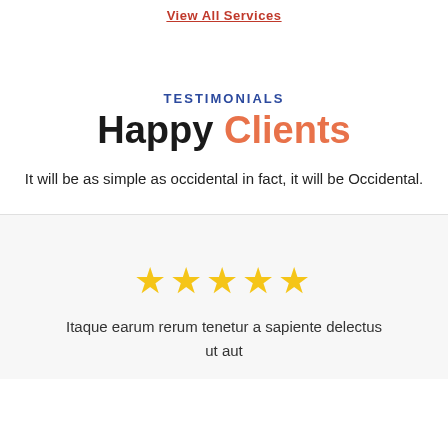View All Services
TESTIMONIALS
Happy Clients
It will be as simple as occidental in fact, it will be Occidental.
[Figure (other): Five golden star rating icons]
Itaque earum rerum tenetur a sapiente delectus ut aut